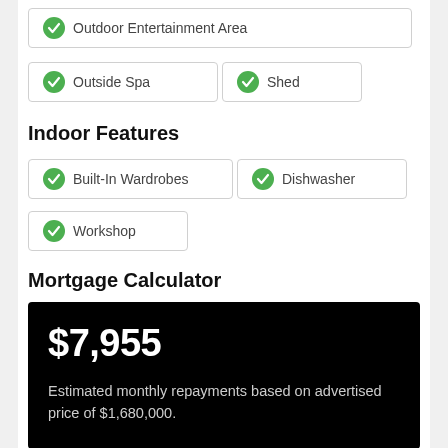Outdoor Entertainment Area
Outside Spa
Shed
Indoor Features
Built-In Wardrobes
Dishwasher
Workshop
Mortgage Calculator
$7,955
Estimated monthly repayments based on advertised price of $1,680,000.